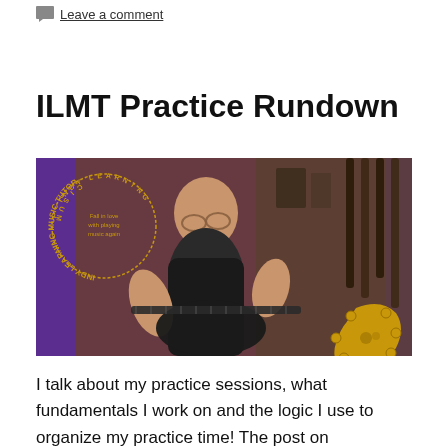Leave a comment
ILMT Practice Rundown
[Figure (photo): A bald man wearing glasses and a black t-shirt playing an electric guitar in a music studio. The image has a purple background with a circular logo reading 'INDY LEARNING MUSIC TUTOR - Fall in love with playing music again' and a yellow guitar headstock graphic in the bottom right corner.]
I talk about my practice sessions, what fundamentals I work on and the logic I use to organize my practice time! The post on MYILMT.com will have the Image file